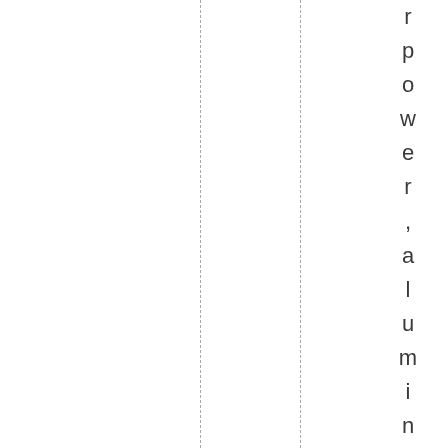r power, aluminium plants, and